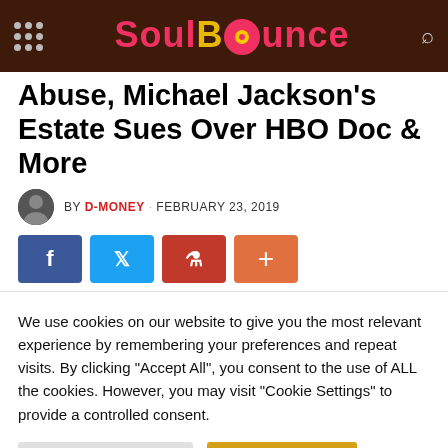SoulBounce
Abuse, Michael Jackson's Estate Sues Over HBO Doc & More
BY D-MONEY · FEBRUARY 23, 2019
We use cookies on our website to give you the most relevant experience by remembering your preferences and repeat visits. By clicking "Accept All", you consent to the use of ALL the cookies. However, you may visit "Cookie Settings" to provide a controlled consent.